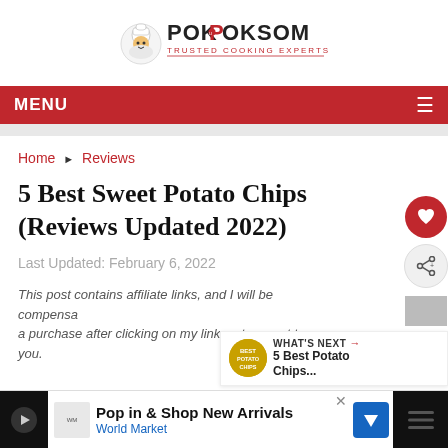[Figure (logo): PokPokSom logo — cartoon chef mascot with text POKPOKSOM and TRUSTED COOKING EXPERTS]
MENU
Home ▶ Reviews
5 Best Sweet Potato Chips (Reviews Updated 2022)
Last Updated: February 6, 2022
This post contains affiliate links, and I will be compensated a purchase after clicking on my links, at no cost to you.
[Figure (infographic): WHAT'S NEXT → 5 Best Potato Chips... promotional widget with thumbnail]
[Figure (infographic): Advertisement: Pop in & Shop New Arrivals — World Market, with play button and blue direction arrow]